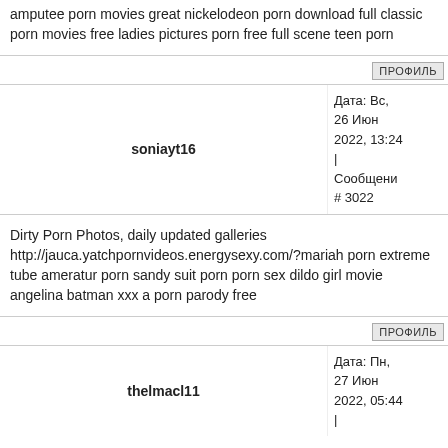amputee porn movies great nickelodeon porn download full classic porn movies free ladies pictures porn free full scene teen porn
ПРОФИЛЬ
Дата: Вс, 26 Июн 2022, 13:24 | Сообщени # 3022
soniayt16
Dirty Porn Photos, daily updated galleries http://jauca.yatchpornvideos.energysexy.com/?mariah porn extreme tube ameratur porn sandy suit porn porn sex dildo girl movie angelina batman xxx a porn parody free
ПРОФИЛЬ
Дата: Пн, 27 Июн 2022, 05:44 |
thelmacl11